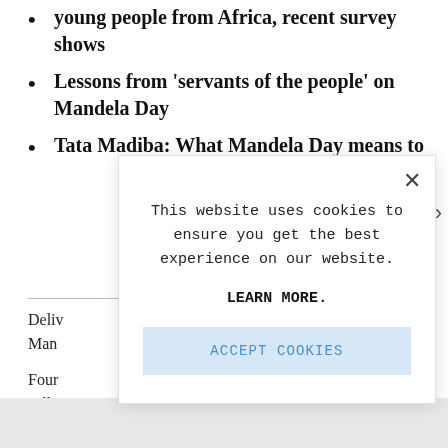young people from Africa, recent survey shows
Lessons from 'servants of the people' on Mandela Day
Tata Madiba: What Mandela Day means to
Deliv
Man
Four
calle
[Figure (screenshot): Cookie consent modal overlay with close button (×), text 'This website uses cookies to ensure you get the best experience on our website.', bold 'LEARN MORE.' link, and 'ACCEPT COOKIES' button in light blue.]